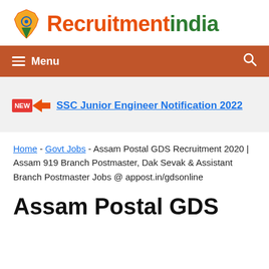[Figure (logo): RecruitmentIndia logo with India map graphic and orange/green text]
Menu
SSC Junior Engineer Notification 2022
Home - Govt Jobs - Assam Postal GDS Recruitment 2020 | Assam 919 Branch Postmaster, Dak Sevak & Assistant Branch Postmaster Jobs @ appost.in/gdsonline
Assam Postal GDS